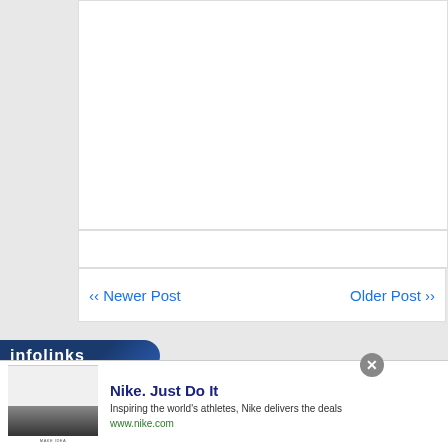[Figure (screenshot): White content panel area (blank, top section of a blog/webpage)]
[Figure (screenshot): White search/input bar below the main content box]
‹‹ Newer Post
Older Post ››
[Figure (logo): Infolinks logo banner - dark blue pill shape with 'infolinks' text in white]
[Figure (screenshot): Nike advertisement overlay: thumbnail image on left, bold title 'Nike. Just Do It', description 'Inspiring the world's athletes, Nike delivers the deals', URL 'www.nike.com', circular arrow navigation button on right, X close button top-right]
Nike. Just Do It
Inspiring the world's athletes, Nike delivers the deals
www.nike.com